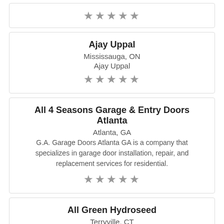[Figure (other): 5-star rating row (gray stars) for a partially visible card at the top]
Ajay Uppal
Mississauga, ON
Ajay Uppal
[Figure (other): 5-star rating row (gray stars) for Ajay Uppal card]
All 4 Seasons Garage & Entry Doors Atlanta
Atlanta, GA
G.A. Garage Doors Atlanta GA is a company that specializes in garage door installation, repair, and replacement services for residential.
[Figure (other): 5-star rating row (gray stars) for All 4 Seasons Garage & Entry Doors Atlanta card]
All Green Hydroseed
Terryville, CT
Hydroseed